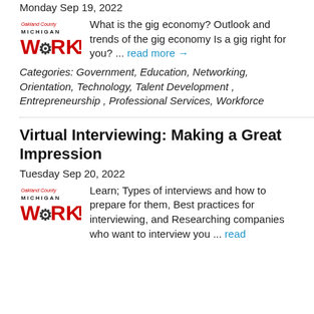Monday Sep 19, 2022
What is the gig economy? Outlook and trends of the gig economy Is a gig right for you? ... read more →
Categories: Government, Education, Networking, Orientation, Technology, Talent Development , Entrepreneurship , Professional Services, Workforce
Virtual Interviewing: Making a Great Impression
Tuesday Sep 20, 2022
Learn; Types of interviews and how to prepare for them, Best practices for interviewing, and Researching companies who want to interview you ... read